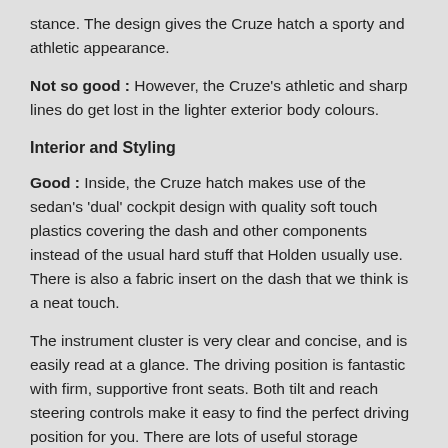stance. The design gives the Cruze hatch a sporty and athletic appearance.
Not so good : However, the Cruze's athletic and sharp lines do get lost in the lighter exterior body colours.
Interior and Styling
Good : Inside, the Cruze hatch makes use of the sedan's 'dual' cockpit design with quality soft touch plastics covering the dash and other components instead of the usual hard stuff that Holden usually use. There is also a fabric insert on the dash that we think is a neat touch.
The instrument cluster is very clear and concise, and is easily read at a glance. The driving position is fantastic with firm, supportive front seats. Both tilt and reach steering controls make it easy to find the perfect driving position for you. There are lots of useful storage compartments around the cabin with decent room provided for both front and rear passengers.